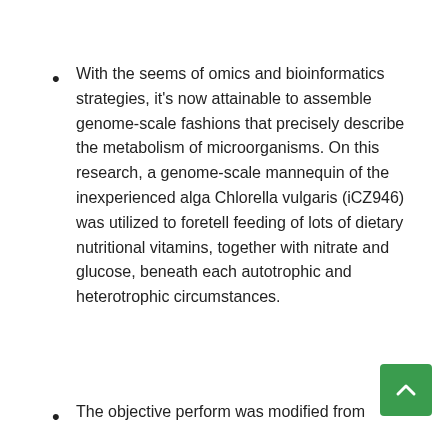With the seems of omics and bioinformatics strategies, it's now attainable to assemble genome-scale fashions that precisely describe the metabolism of microorganisms. On this research, a genome-scale mannequin of the inexperienced alga Chlorella vulgaris (iCZ946) was utilized to foretell feeding of lots of dietary nutritional vitamins, together with nitrate and glucose, beneath each autotrophic and heterotrophic circumstances.
The objective perform was modified from